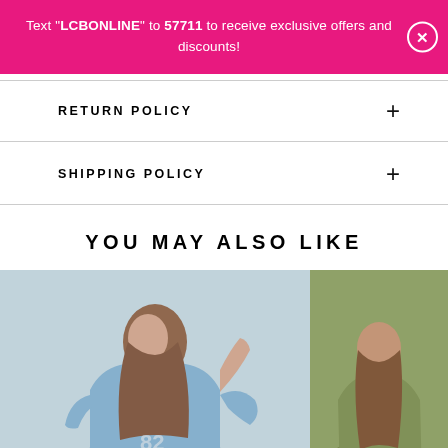Text "LCBONLINE" to 57711 to receive exclusive offers and discounts!
RETURN POLICY
SHIPPING POLICY
YOU MAY ALSO LIKE
[Figure (photo): Model wearing a blue oversized graphic t-shirt, posing with hand on head, long wavy brown hair, viewed from the back.]
[Figure (photo): Partial view of a model wearing an olive/green outfit, cropped at the edge of the frame.]